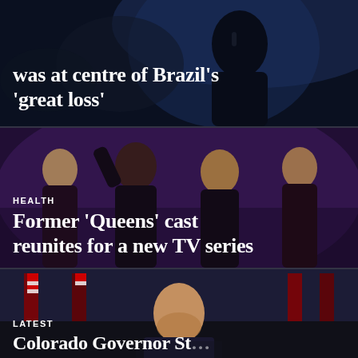[Figure (photo): Dark photo of a performer on stage, top portion cropped]
was at centre of Brazil's 'great loss'
[Figure (photo): Group photo of four women in performance outfits, the former Queens TV show cast]
HEALTH
Former 'Queens' cast reunites for a new TV series
[Figure (photo): Photo of a bald man at a podium with American flags in background, Colorado Governor]
LATEST
Colorado Governor St...